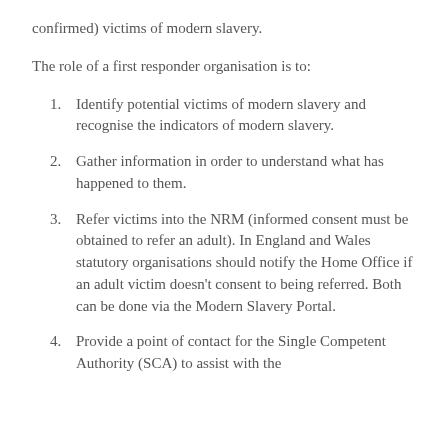confirmed) victims of modern slavery.
The role of a first responder organisation is to:
Identify potential victims of modern slavery and recognise the indicators of modern slavery.
Gather information in order to understand what has happened to them.
Refer victims into the NRM (informed consent must be obtained to refer an adult). In England and Wales statutory organisations should notify the Home Office if an adult victim doesn't consent to being referred. Both can be done via the Modern Slavery Portal.
Provide a point of contact for the Single Competent Authority (SCA) to assist with the